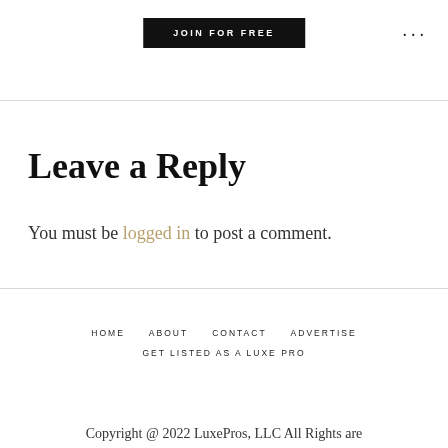JOIN FOR FREE
Leave a Reply
You must be logged in to post a comment.
HOME   ABOUT   CONTACT   ADVERTISE   GET LISTED AS A LUXE PRO
Copyright @ 2022 LuxePros, LLC All Rights are